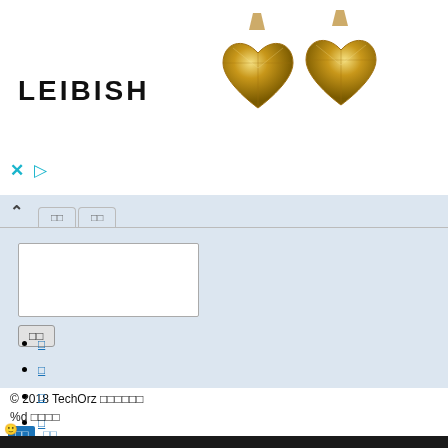[Figure (screenshot): Leibish advertisement banner with two yellow heart-shaped diamond earrings on white background with LEIBISH logo on left]
[Figure (screenshot): Web page UI with tab, collapse arrow, comment textarea, submit button]
© 2018 TechOrz 囧科技
□
□
□
□
□
%d 則留言
前頁  後頁